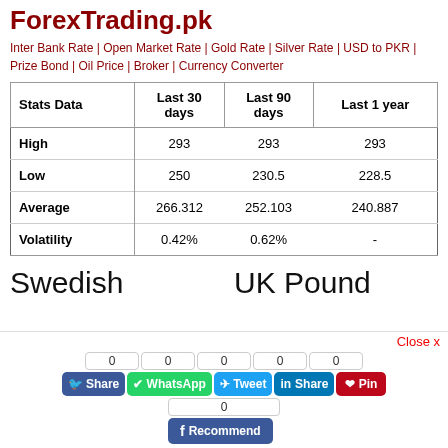ForexTrading.pk
Inter Bank Rate | Open Market Rate | Gold Rate | Silver Rate | USD to PKR | Prize Bond | Oil Price | Broker | Currency Converter
| Stats Data | Last 30 days | Last 90 days | Last 1 year |
| --- | --- | --- | --- |
| High | 293 | 293 | 293 |
| Low | 250 | 230.5 | 228.5 |
| Average | 266.312 | 252.103 | 240.887 |
| Volatility | 0.42% | 0.62% | - |
Swedish
UK Pound